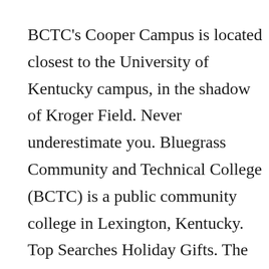BCTC's Cooper Campus is located closest to the University of Kentucky campus, in the shadow of Kroger Field. Never underestimate you. Bluegrass Community and Technical College (BCTC) is a public community college in Lexington, Kentucky. Top Searches Holiday Gifts. The online course tuition is an affordable[citation needed] flat-rate for in-state and out-of-state students alike. Lexington Community College was the last